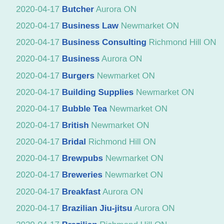2020-04-17 Butcher Aurora ON
2020-04-17 Business Law Newmarket ON
2020-04-17 Business Consulting Richmond Hill ON
2020-04-17 Business Aurora ON
2020-04-17 Burgers Newmarket ON
2020-04-17 Building Supplies Newmarket ON
2020-04-17 Bubble Tea Newmarket ON
2020-04-17 British Newmarket ON
2020-04-17 Bridal Richmond Hill ON
2020-04-17 Brewpubs Newmarket ON
2020-04-17 Breweries Newmarket ON
2020-04-17 Breakfast Aurora ON
2020-04-17 Brazilian Jiu-jitsu Aurora ON
2020-04-17 Brazilian Richmond Hill ON
2020-04-17 Boxing Aurora ON
2020-04-17 Bookstores Newmarket ON
2020-04-17 Books, Mags, Music Aurora ON
2020-04-17 Books, Mags, Music Aurora ON
2020-04-17 Bookkeepers Richmond Hill ON
2020-04-17 Body Shops Aurora ON
2020-04-17 Blow Dry/Out Services Aurora ON
2020-04-17 Bistros Aurora ON
2020-04-17 Bikes Aurora ON